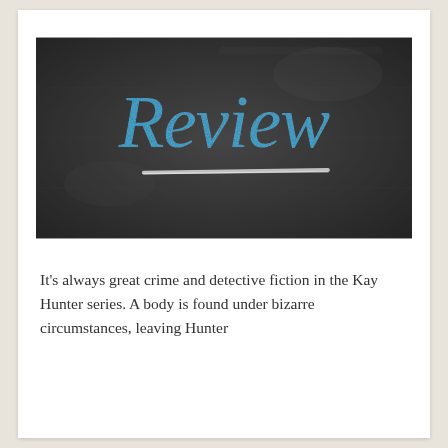[Figure (illustration): A dark chalkboard background with the word 'Review' written in blue chalk-style handwriting, and a horizontal white chalk line drawn beneath the text.]
It's always great crime and detective fiction in the Kay Hunter series. A body is found under bizarre circumstances, leaving Hunter